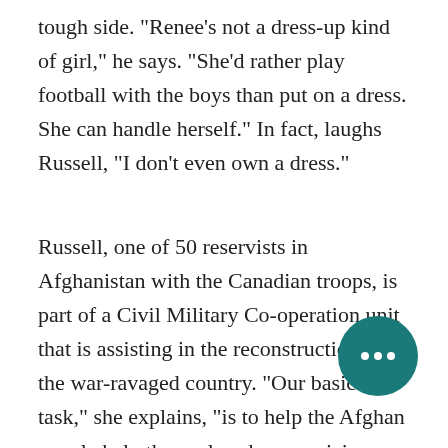tough side. "Renee's not a dress-up kind of girl," he says. "She'd rather play football with the boys than put on a dress. She can handle herself." In fact, laughs Russell, "I don't even own a dress."
Russell, one of 50 reservists in Afghanistan with the Canadian troops, is part of a Civil Military Co-operation unit that is assisting in the reconstruction of the war-ravaged country. "Our basic task," she explains, "is to help the Afghan people help themselves by organizing rebuilding projects." So far, the unit has rebuilt schools and bridges, and dug wells. By working closely with the community, Russell's group also hopes to create an
[Figure (other): Teal circular button with three white dots (more/ellipsis button) overlaid on bottom-right of text]